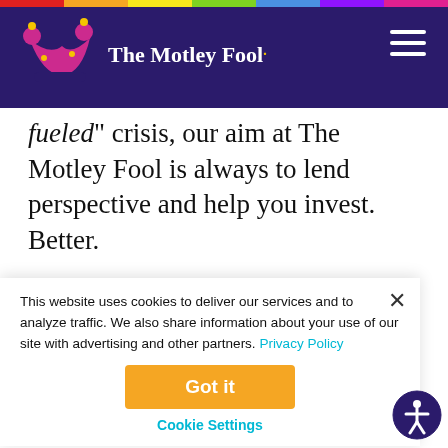The Motley Fool
fueled crisis, our aim at The Motley Fool is always to lend perspective and help you invest. Better.
Here is our latest fiscal cliff coverage, updated as we have more insights:
This website uses cookies to deliver our services and to analyze traffic. We also share information about your use of our site with advertising and other partners. Privacy Policy
Got it
Cookie Settings